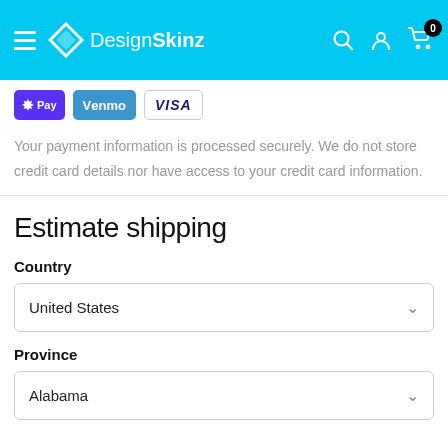DesignSkinz
[Figure (logo): DesignSkinz logo with diamond icon on cyan navigation bar]
Your payment information is processed securely. We do not store credit card details nor have access to your credit card information.
Estimate shipping
Country
United States
Province
Alabama